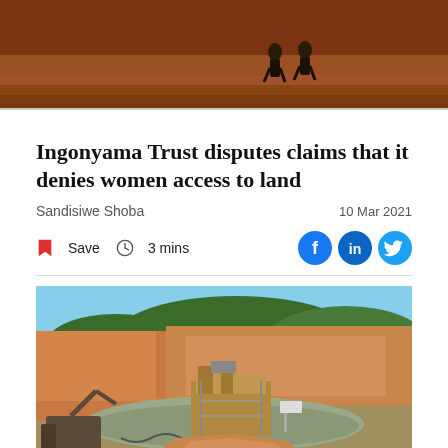[Figure (photo): Top of page: partial photo showing two people walking on reddish-brown dirt ground]
Ingonyama Trust disputes claims that it denies women access to land
Sandisiwe Shoba
10 Mar 2021
Save  3 mins
[Figure (photo): Mining operation on Ingonyama Trust land: open-pit mine with large machinery, muddy water, dirt road, sandy excavated terrain with green-covered hills in background]